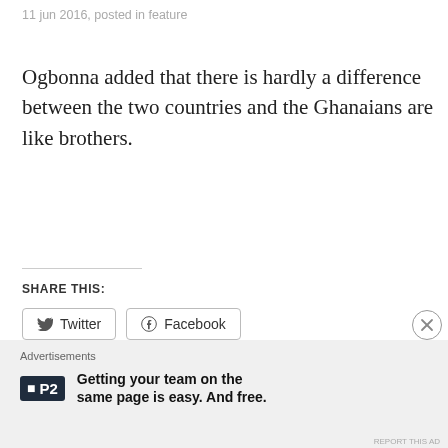11 jun 2016, posted in feature
Ogbonna added that there is hardly a difference between the two countries and the Ghanaians are like brothers.
SHARE THIS:
Twitter  Facebook
Like
Be the first to like this.
tagged ghanamustgo, ik ogbonna    leave a comment
Advertisements
P2  Getting your team on the same page is easy. And free.